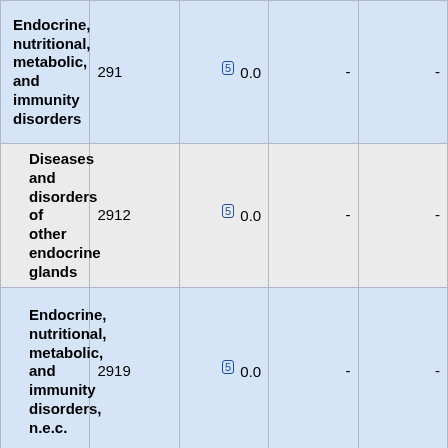| Diagnosis | Code | Col1 | Col2 | Col3 |
| --- | --- | --- | --- | --- |
| Endocrine, nutritional, metabolic, and immunity disorders | 291 | (5) 0.0 | - | - |
| Diseases and disorders of other endocrine glands | 2912 | (5) 0.0 | - | - |
| Endocrine, nutritional, metabolic, and immunity disorders, n.e.c. | 2919 | (5) 0.0 | - | - |
| Infectious and parasitic diseases | 3 | 0.1 | (5) 0.0 | 0.5 |
| Infectious and parasitic diseases, unspecified | 30 | (5) 0.0 | - | - |
| Bacterial diseases | 31 | (5) 0.0 | - | - |